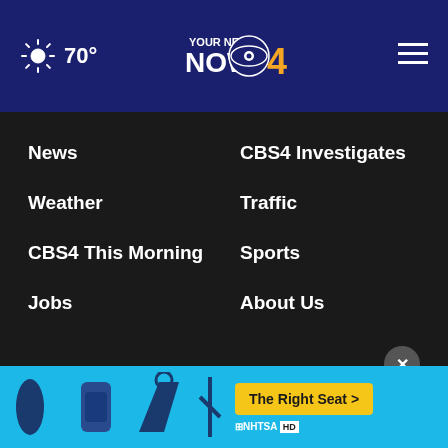70° — YOUR NEWS NOW CBS4
News
CBS4 Investigates
Weather
Traffic
CBS4 This Morning
Sports
Jobs
About Us
Online Public File
EEO Report
Public File Help
Privacy Policy
Terms Of...
Information
[Figure (infographic): Car seat safety ad banner for NHTSA with The Right Seat button]